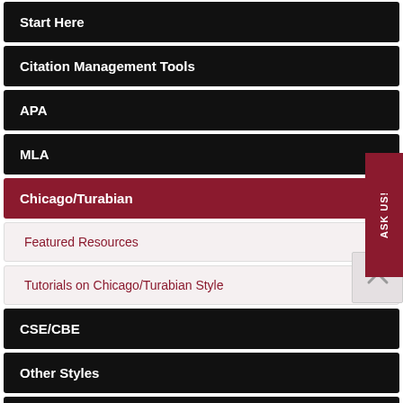Start Here
Citation Management Tools
APA
MLA
Chicago/Turabian
Featured Resources
Tutorials on Chicago/Turabian Style
CSE/CBE
Other Styles
Books
Library Hours
Loading Remote Script...